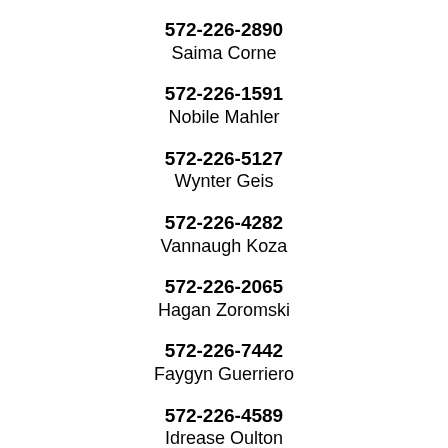572-226-2890
Saima Corne
572-226-1591
Nobile Mahler
572-226-5127
Wynter Geis
572-226-4282
Vannaugh Koza
572-226-2065
Hagan Zoromski
572-226-7442
Faygyn Guerriero
572-226-4589
Idrease Oulton
572-226-0047
Dolphine Provencher
572-226-6970